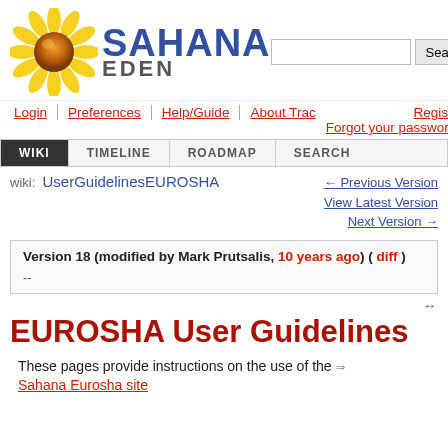[Figure (logo): Sahana Eden sunflower logo with SAHANA EDEN text and search bar]
Login | Preferences | Help/Guide | About Trac | Register | Forgot your password?
WIKI | TIMELINE | ROADMAP | SEARCH
wiki: UserGuidelinesEUROSHA  ← Previous Version  View Latest Version  Next Version →
Version 18 (modified by Mark Prutsalis, 10 years ago) ( diff )
--
EUROSHA User Guidelines
These pages provide instructions on the use of the Sahana Eurosha site